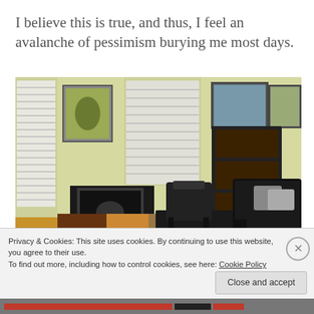I believe this is true, and thus, I feel an avalanche of pessimism burying me most days.
[Figure (photo): A living room interior with yellow-green walls, a black leather sofa, a recliner chair with ottoman, a dark bookshelf, a TV on a stand, and a colorful patterned area rug on hardwood flooring. Several framed pictures hang on the walls.]
Privacy & Cookies: This site uses cookies. By continuing to use this website, you agree to their use.
To find out more, including how to control cookies, see here: Cookie Policy
Close and accept